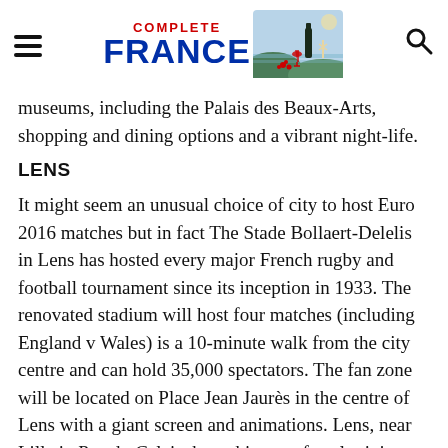COMPLETE FRANCE
museums, including the Palais des Beaux-Arts, shopping and dining options and a vibrant night-life.
LENS
It might seem an unusual choice of city to host Euro 2016 matches but in fact The Stade Bollaert-Delelis in Lens has hosted every major French rugby and football tournament since its inception in 1933. The renovated stadium will host four matches (including England v Wales) is a 10-minute walk from the city centre and can hold 35,000 spectators. The fan zone will be located on Place Jean Jaurès in the centre of Lens with a giant screen and animations. Lens, near Lille in Pas-de-Calais, has a history of coal mining and the pyramid-shaped